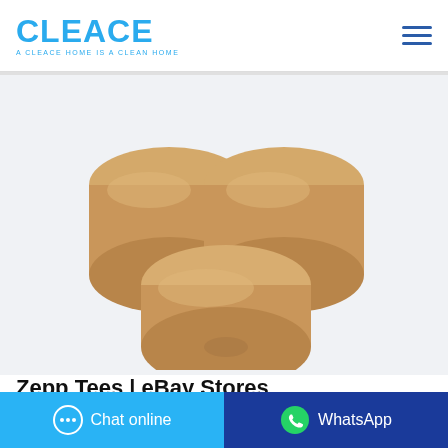CLEACE — A CLEACE HOME IS A CLEAN HOME
[Figure (photo): Three rolls of unbleached/natural brown toilet paper stacked in a pyramid shape on a white/light grey background]
Zepp Tees | eBay Stores
Come and Take It Toilet Paper T Shirt TP
Chat online
WhatsApp